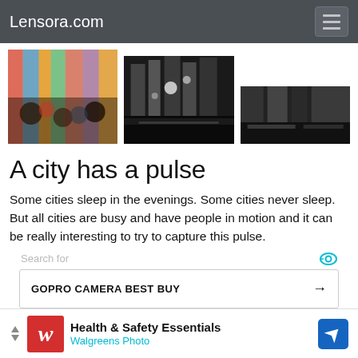Lensora.com
[Figure (photo): Three city street photographs in a row: colorful crowded city street, black and white Times Square night scene, black and white city street scene]
A city has a pulse
Some cities sleep in the evenings. Some cities never sleep. But all cities are busy and have people in motion and it can be really interesting to try to capture this pulse.
Search for
GOPRO CAMERA BEST BUY
WIRELESS HIDDEN CAMERAS
[Figure (screenshot): Walgreens ad: Health & Safety Essentials, Walgreens Photo]